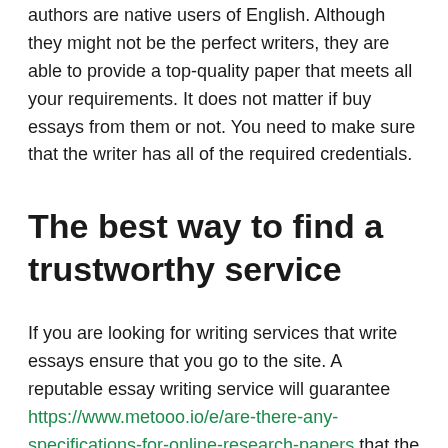authors are native users of English. Although they might not be the perfect writers, they are able to provide a top-quality paper that meets all your requirements. It does not matter if buy essays from them or not. You need to make sure that the writer has all of the required credentials.
The best way to find a trustworthy service
If you are looking for writing services that write essays ensure that you go to the site. A reputable essay writing service will guarantee https://www.metooo.io/e/are-there-any-specifications-for-online-research-papers that the work they write is 100 100% original. Plagiarism may have grave effects for the consumer and writing service. Trustworthy essay writing companies are always able to check their work for originality and correct any errors free of charge. Prior to